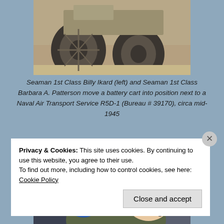[Figure (photo): Black and white or sepia-toned historical photograph showing a vehicle (tires/wheels visible) on a sandy or dusty ground, aircraft or military vehicle context, circa mid-1945]
Seaman 1st Class Billy Ikard (left) and Seaman 1st Class Barbara A. Patterson move a battery cart into position next to a Naval Air Transport Service R5D-1 (Bureau # 39170), circa mid-1945
[Figure (photo): Color photograph of a smiling young blonde woman wearing a flight suit with a military squadron patch on the shoulder and aviation headset/headphones, taken inside an aircraft]
Privacy & Cookies: This site uses cookies. By continuing to use this website, you agree to their use.
To find out more, including how to control cookies, see here: Cookie Policy
Close and accept